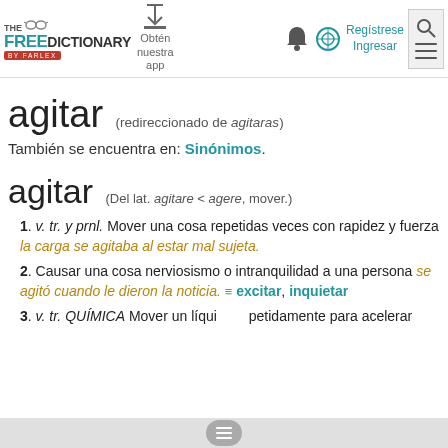[Figure (logo): The Free Dictionary by Farlex logo with glasses icon]
Obtén nuestra app
Regístrese Ingresar
agitar  (redireccionado de agitaras)
También se encuentra en: Sinónimos.
agitar  (Del lat. agitare < agere, mover.)
1. v. tr. y prnl. Mover una cosa repetidas veces con rapidez y fuerza la carga se agitaba al estar mal sujeta.
2. Causar una cosa nerviosismo o intranquilidad a una persona se agitó cuando le dieron la noticia. ≡ excitar, inquietar
3. v. tr. QUÍMICA Mover un líquido repetidamente para acelerar